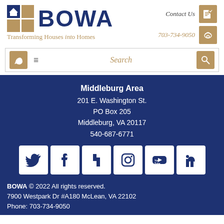[Figure (logo): BOWA logo with gold grid and house icon, dark blue BOWA text, gold tagline 'Transforming Houses into Homes']
[Figure (other): Contact Us icon, phone icon, 703-734-9050 contact info]
[Figure (other): Navigation bar with phone icon, hamburger menu, search bar, and search icon]
Middleburg Area
201 E. Washington St.
PO Box 205
Middleburg, VA 20117
540-687-6771
[Figure (other): Social media icons: Twitter, Facebook, Houzz, Instagram, YouTube, LinkedIn]
BOWA © 2022 All rights reserved.
7900 Westpark Dr #A180 McLean, VA 22102
Phone: 703-734-9050